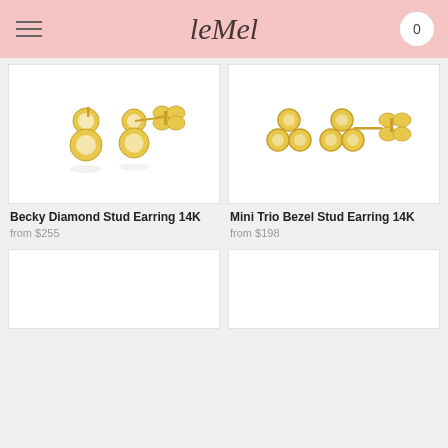leMel — 0
[Figure (photo): Becky Diamond Stud Earring 14K — two gold diamond stud earrings with butterfly backs on white background]
[Figure (photo): Mini Trio Bezel Stud Earring 14K — gold trio bezel stud earrings with butterfly backs on white background]
Becky Diamond Stud Earring 14K
from $255
Mini Trio Bezel Stud Earring 14K
from $198
[Figure (photo): Partially visible product card — white background, bottom of page]
[Figure (photo): Partially visible product card — white background, bottom of page]